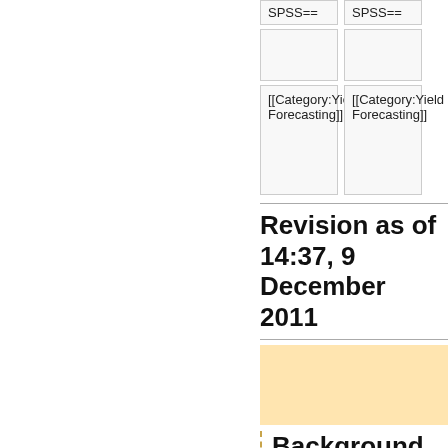SPSS==
SPSS==
[[Category:Yield Forecasting]]
[[Category:Yield Forecasting]]
Revision as of 14:37, 9 December 2011
[Figure (other): Orange/tan colored banner image]
Background
Various authors have proposed to